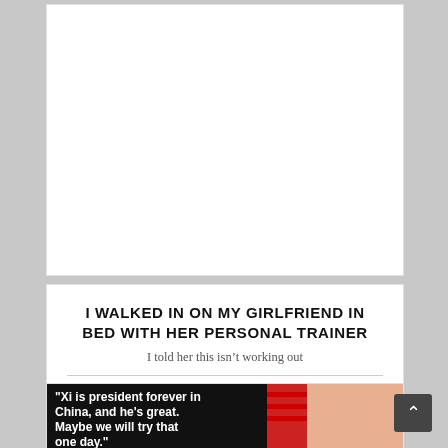[Figure (other): White rectangular advertisement placeholder area]
I WALKED IN ON MY GIRLFRIEND IN BED WITH HER PERSONAL TRAINER
I told her this isn't working out
[Figure (photo): Image with black background text reading: "Xi is president forever in China, and he's great. Maybe we will try that one day." next to a photo of Donald Trump with American flag background]